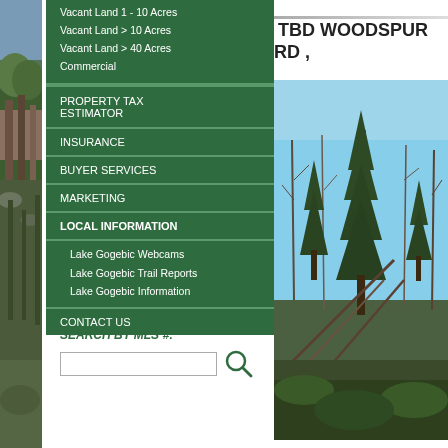[Figure (photo): Left side vertical photo strip showing forest/nature scene]
Vacant Land 1 - 10 Acres
Vacant Land > 10 Acres
Vacant Land > 40 Acres
Commercial
PROPERTY TAX ESTIMATOR
INSURANCE
BUYER SERVICES
MARKETING
LOCAL INFORMATION
Lake Gogebic Webcams
Lake Gogebic Trail Reports
Lake Gogebic Information
CONTACT US
SEARCH BY MLS #:
TBD WOODSPUR RD ,
[Figure (photo): Forest scene with tall evergreen trees and bare deciduous trees against a blue sky]